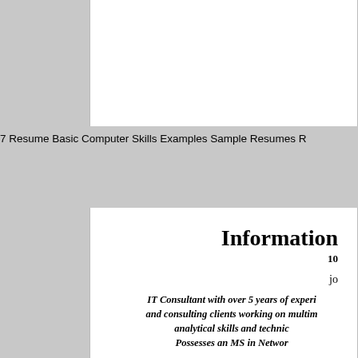7 Resume Basic Computer Skills Examples Sample Resumes R
Information
10
jo
IT Consultant with over 5 years of experi and consulting clients working on multim analytical skills and technic Possesses an MS in Networ
TECHNICAL SKILLS
Superb skills in: Windows Server 2